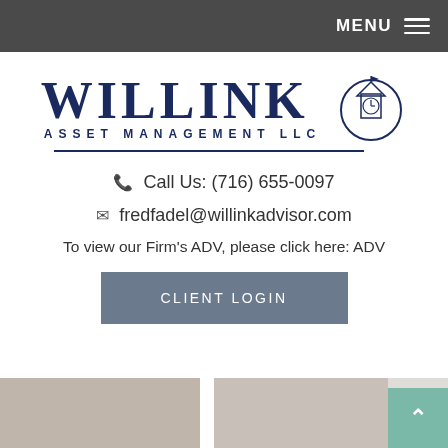MENU
[Figure (logo): Willink Asset Management LLC logo with clock tower emblem]
Call Us: (716) 655-0097
fredfadel@willinkadvisor.com
To view our Firm's ADV, please click here: ADV
CLIENT LOGIN